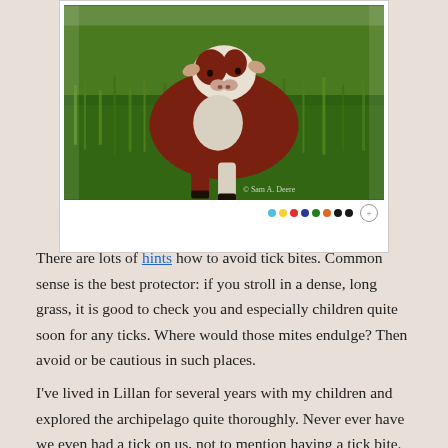[Figure (photo): A brown and white Hereford cow standing in dense green grass, facing the camera. Photo watermark reads '© Sam A. Deere'. Below the photo is a toolbar with colored dots and a compass icon.]
There are lots of hints how to avoid tick bites. Common sense is the best protector: if you stroll in a dense, long grass, it is good to check you and especially children quite soon for any ticks. Where would those mites endulge? Then avoid or be cautious in such places.
I've lived in Lillan for several years with my children and explored the archipelago quite thoroughly. Never ever have we even had a tick on us, not to mention having a tick bite.